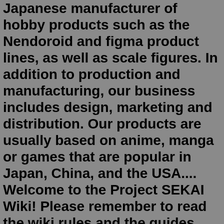Japanese manufacturer of hobby products such as the Nendoroid and figma product lines, as well as scale figures. In addition to production and manufacturing, our business includes design, marketing and distribution. Our products are usually based on anime, manga or games that are popular in Japan, China, and the USA.... Welcome to the Project SEKAI Wiki! Please remember to read the wiki rules and the guides before you start editing. READ MORE. Project SEKAI Wiki. Explore. Main Page; 2 level 1 · 9 mo. ago Vivid BAD SQUAD Android: Why qooapp is not an option tho? Alternatively, You can use japan vpn and create a new google account with japan as the country and download the game. It can be a bit of a hassle when updating though, as you have to clear playstore cache--> turn on jp vpn--> open app store again Ios is much simpler. Initial Release Date: November 22, 2016. Welcomed by the fluttering of cherry blossom, the main character, Brian, starts a new high school life in Japan. Brian soon starts to get along with two girls in the same class after they start